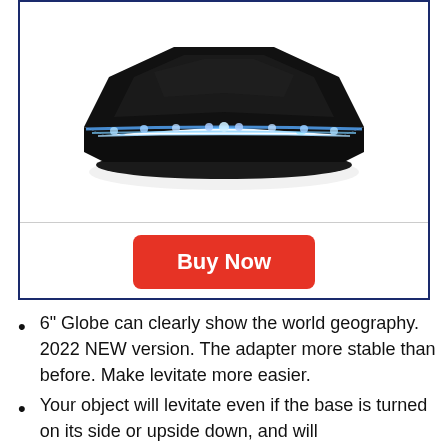[Figure (photo): A black flat rectangular levitation base/platform with blue LED lights glowing around its perimeter, viewed from slightly above at an angle. The device appears to be a magnetic levitation base used for floating objects.]
Buy Now
6" Globe can clearly show the world geography. 2022 NEW version. The adapter more stable than before. Make levitate more easier.
Your object will levitate even if the base is turned on its side or upside down, and will